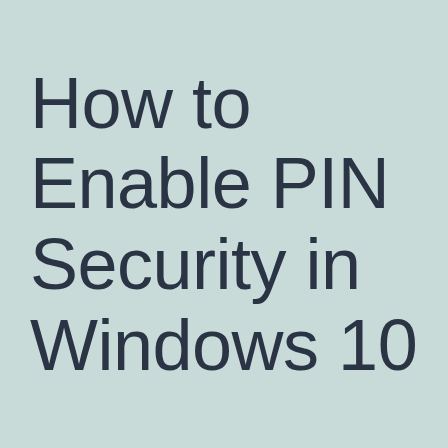How to Enable PIN Security in Windows 10